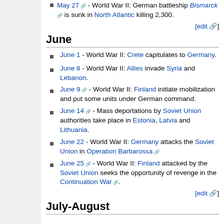May 27 - World War II: German battleship Bismarck is sunk in North Atlantic killing 2,300.
[edit]
June
June 1 - World War II: Crete capitulates to Germany.
June 8 - World War II: Allies invade Syria and Lebanon.
June 9 - World War II: Finland initiate mobilization and put some units under German command.
June 14 - Mass deportations by Soviet Union authorities take place in Estonia, Latvia and Lithuania.
June 22 - World War II: Germany attacks the Soviet Union in Operation Barbarossa
June 25 - World War II: Finland attacked by the Soviet Union seeks the opportunity of revenge in the Continuation War.
[edit]
July-August